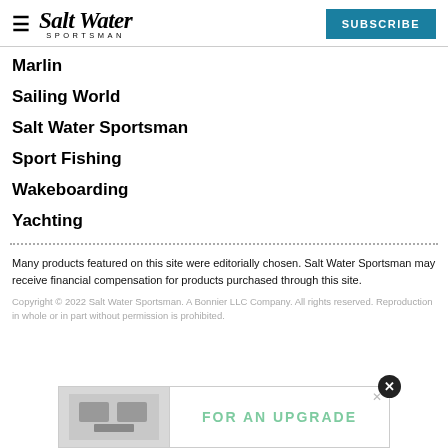Salt Water Sportsman — SUBSCRIBE
Marlin
Sailing World
Salt Water Sportsman
Sport Fishing
Wakeboarding
Yachting
Many products featured on this site were editorially chosen. Salt Water Sportsman may receive financial compensation for products purchased through this site.
Copyright © 2022 Salt Water Sportsman. A Bonnier LLC Company. All rights reserved. Reproduction in whole or in part without permission is prohibited.
[Figure (screenshot): Advertisement overlay banner with X close button, showing a product image placeholder on the left and the text 'FOR AN UPGRADE' in teal letters on white background.]